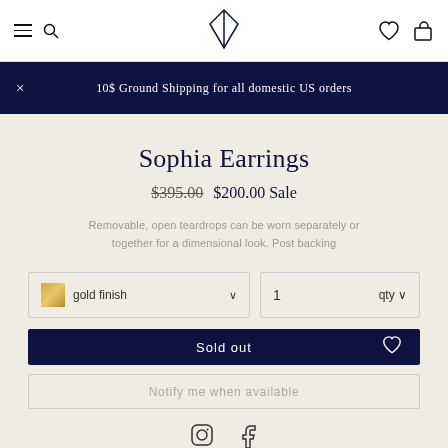10$ Ground Shipping for all domestic US orders
Sophia Earrings
$395.00  $200.00 Sale
Removable, open teardrops can be worn separately or together for a dimensional look. Post backing
gold finish  1  qty
Sold out
Notify me when available